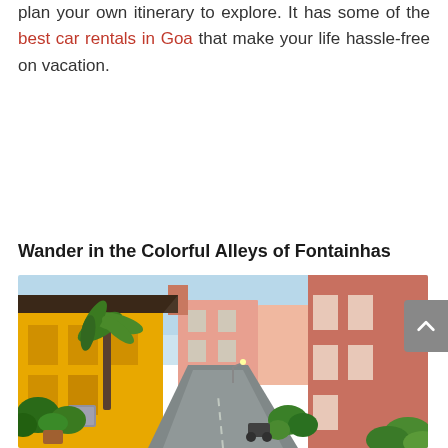plan your own itinerary to explore. It has some of the best car rentals in Goa that make your life hassle-free on vacation.
| Table of Contents |
| --- |
Wander in the Colorful Alleys of Fontainhas
[Figure (photo): Colorful street scene in Fontainhas, Goa, showing yellow and pink colonial-era buildings lining a narrow road, with lush tropical palm trees and plants.]